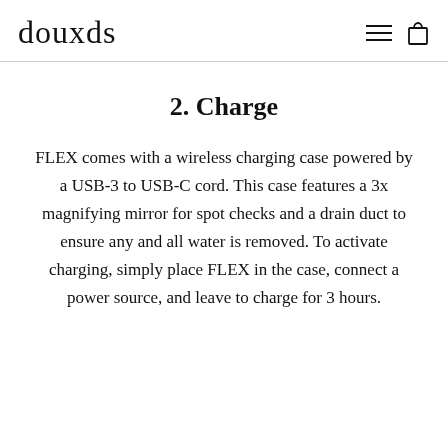douxds
2. Charge
FLEX comes with a wireless charging case powered by a USB-3 to USB-C cord. This case features a 3x magnifying mirror for spot checks and a drain duct to ensure any and all water is removed. To activate charging, simply place FLEX in the case, connect a power source, and leave to charge for 3 hours.